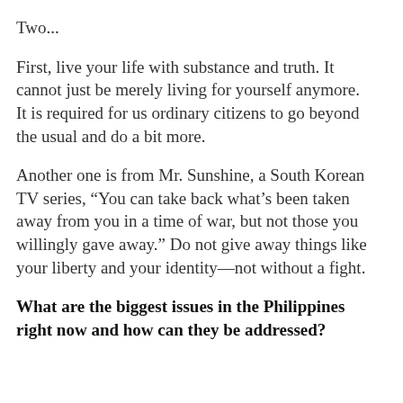Two...
First, live your life with substance and truth. It cannot just be merely living for yourself anymore. It is required for us ordinary citizens to go beyond the usual and do a bit more.
Another one is from Mr. Sunshine, a South Korean TV series, “You can take back what’s been taken away from you in a time of war, but not those you willingly gave away.” Do not give away things like your liberty and your identity—not without a fight.
What are the biggest issues in the Philippines right now and how can they be addressed?